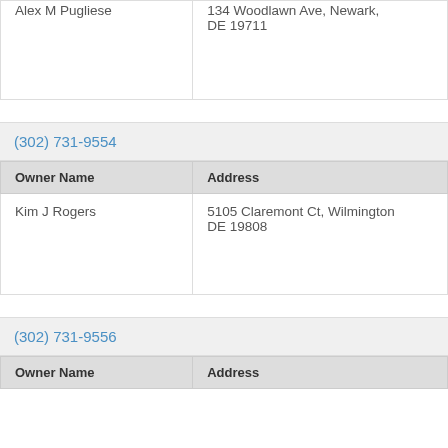| Owner Name | Address |
| --- | --- |
| Alex M Pugliese | 134 Woodlawn Ave, Newark, DE 19711 |
(302) 731-9554
| Owner Name | Address |
| --- | --- |
| Kim J Rogers | 5105 Claremont Ct, Wilmington DE 19808 |
(302) 731-9556
| Owner Name | Address |
| --- | --- |